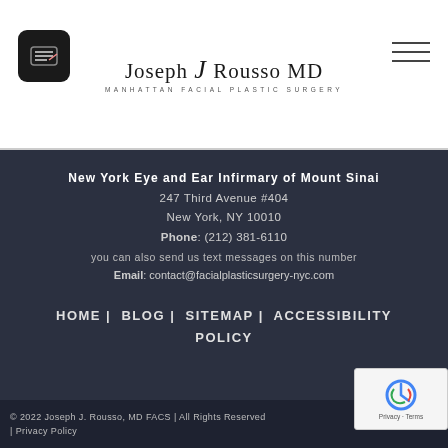[Figure (logo): Joseph J Rousso MD Manhattan Facial Plastic Surgery logo with stylized J in script]
New York Eye and Ear Infirmary of Mount Sinai
247 Third Avenue #404
New York, NY 10010
Phone: (212) 381-6110
you can also send us text messages on this number
Email: contact@facialplasticsurgery-nyc.com
HOME | BLOG | SITEMAP | ACCESSIBILITY POLICY
© 2022 Joseph J. Rousso, MD FACS | All Rights Reserved | Privacy Policy